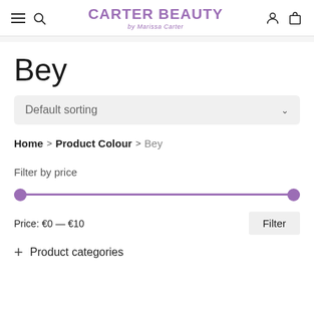CARTER BEAUTY by Marissa Carter
Bey
Default sorting
Home > Product Colour > Bey
Filter by price
Price: €0 — €10
Filter
+ Product categories